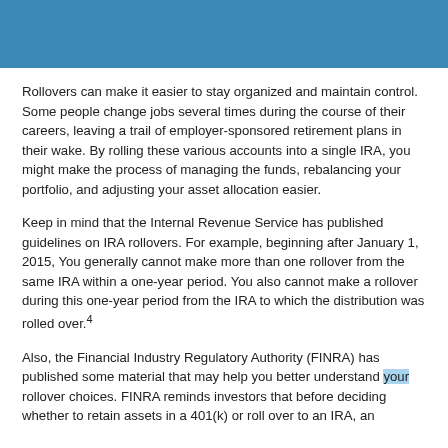Rollovers can make it easier to stay organized and maintain control. Some people change jobs several times during the course of their careers, leaving a trail of employer-sponsored retirement plans in their wake. By rolling these various accounts into a single IRA, you might make the process of managing the funds, rebalancing your portfolio, and adjusting your asset allocation easier.
Keep in mind that the Internal Revenue Service has published guidelines on IRA rollovers. For example, beginning after January 1, 2015, You generally cannot make more than one rollover from the same IRA within a one-year period. You also cannot make a rollover during this one-year period from the IRA to which the distribution was rolled over.4
Also, the Financial Industry Regulatory Authority (FINRA) has published some material that may help you better understand your rollover choices. FINRA reminds investors that before deciding whether to retain assets in a 401(k) or roll over to an IRA, an